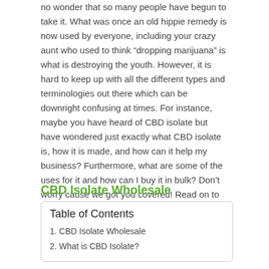no wonder that so many people have begun to take it. What was once an old hippie remedy is now used by everyone, including your crazy aunt who used to think “dropping marijuana” is what is destroying the youth. However, it is hard to keep up with all the different types and terminologies out there which can be downright confusing at times. For instance, maybe you have heard of CBD isolate but have wondered just exactly what CBD isolate is, how it is made, and how can it help my business? Furthermore, what are some of the uses for it and how can I buy it in bulk? Don’t worry cause we got you covered! Read on to find out more about these questions and why CBD isolate could be a great idea for your business.
CBD Isolate Wholesale
| Table of Contents |
| --- |
| 1. CBD Isolate Wholesale |
| 2. What is CBD Isolate? |